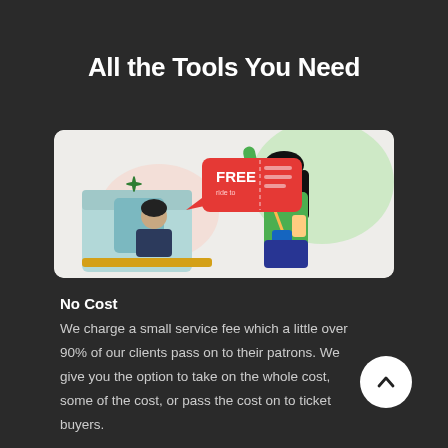All the Tools You Need
[Figure (illustration): Illustration of a transit scene with a person in green holding a phone and waving, a seated passenger, a green sparkle shape, and a red speech bubble saying FREE with a ticket icon and lines]
No Cost
We charge a small service fee which a little over 90% of our clients pass on to their patrons. We give you the option to take on the whole cost, some of the cost, or pass the cost on to ticket buyers.